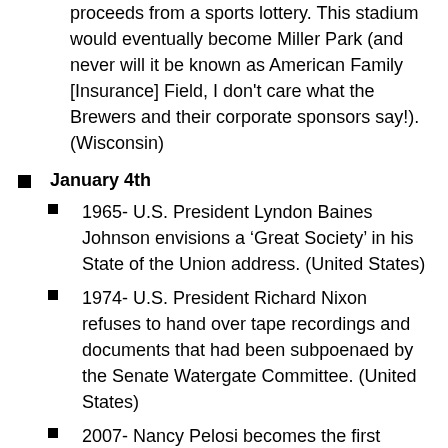proceeds from a sports lottery. This stadium would eventually become Miller Park (and never will it be known as American Family [Insurance] Field, I don't care what the Brewers and their corporate sponsors say!). (Wisconsin)
January 4th
1965- U.S. President Lyndon Baines Johnson envisions a ‘Great Society’ in his State of the Union address. (United States)
1974- U.S. President Richard Nixon refuses to hand over tape recordings and documents that had been subpoenaed by the Senate Watergate Committee. (United States)
2007- Nancy Pelosi becomes the first woman Speaker of the House in the U.S. House of Representatives. (United States)
January 5th
1855- King Camp Gillette is born in Fond d... Working first as a traveling salesman, he eventually